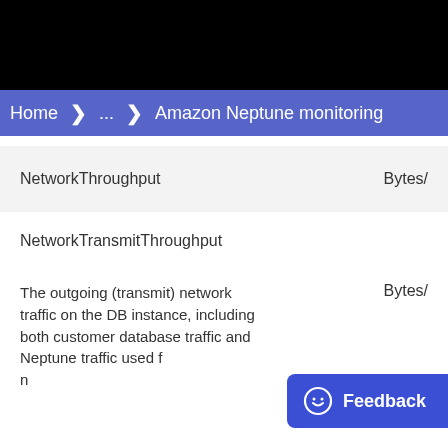Home  ...  Amazon Neptune monitoring
| Metric | Description | Unit |
| --- | --- | --- |
| NetworkThroughput |  | Bytes/ |
| NetworkTransmitThroughput | The outgoing (transmit) network traffic on the DB instance, including both customer database traffic and Neptune traffic used f... | Bytes/ |